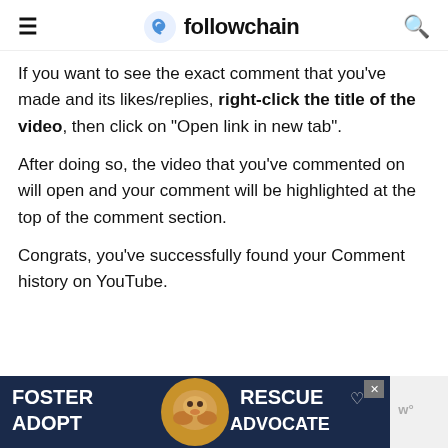followchain
If you want to see the exact comment that you've made and its likes/replies, right-click the title of the video, then click on “Open link in new tab”.
After doing so, the video that you’ve commented on will open and your comment will be highlighted at the top of the comment section.
Congrats, you’ve successfully found your Comment history on YouTube.
[Figure (photo): Advertisement banner: dark navy background with white bold text reading FOSTER ADOPT on the left, a dog photo in the center, and RESCUE ADVOCATE on the right with a close button.]